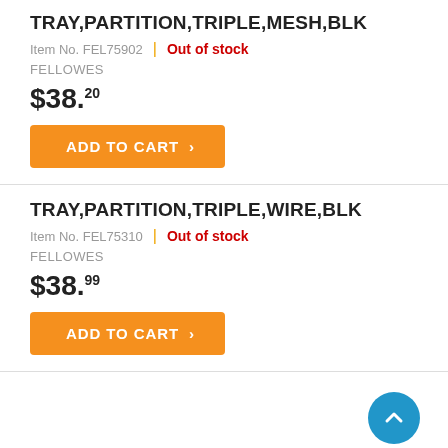TRAY,PARTITION,TRIPLE,MESH,BLK
Item No. FEL75902 | Out of stock
FELLOWES
$38.20
ADD TO CART
TRAY,PARTITION,TRIPLE,WIRE,BLK
Item No. FEL75310 | Out of stock
FELLOWES
$38.99
ADD TO CART
[Figure (illustration): Blue circle scroll-to-top button with upward chevron arrow]